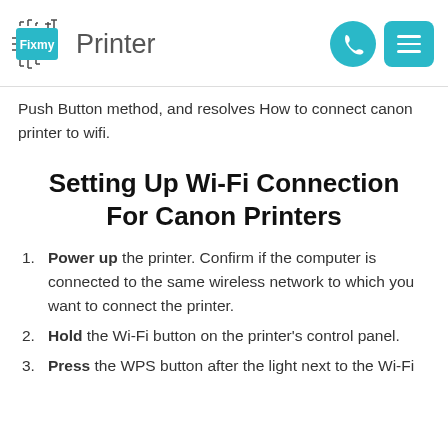FixmyPrinter
Push Button method, and resolves How to connect canon printer to wifi.
Setting Up Wi-Fi Connection For Canon Printers
Power up the printer. Confirm if the computer is connected to the same wireless network to which you want to connect the printer.
Hold the Wi-Fi button on the printer's control panel.
Press the WPS button after the light next to the Wi-Fi